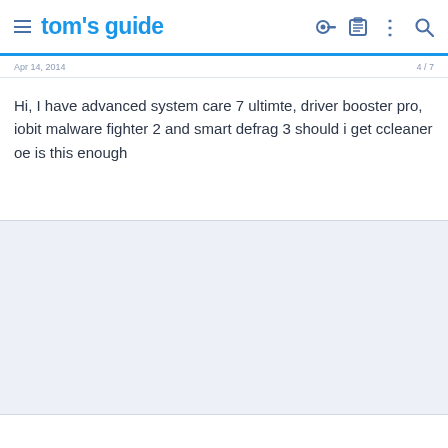tom's guide
Hi, I have advanced system care 7 ultimte, driver booster pro, iobit malware fighter 2 and smart defrag 3 should i get ccleaner oe is this enough